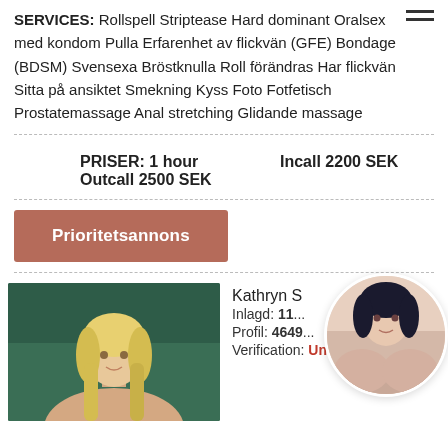SERVICES: Rollspell Striptease Hard dominant Oralsex med kondom Pulla Erfarenhet av flickvän (GFE) Bondage (BDSM) Svensexa Bröstknulla Roll förändras Har flickvän Sitta på ansiktet Smekning Kyss Foto Fotfetisch Prostatemassage Anal stretching Glidande massage
PRISER: 1 hour   Incall 2200 SEK
Outcall 2500 SEK
Prioritetsannons
[Figure (photo): Blonde woman profile photo]
Kathryn S
Inlagd: 11...
Profil: 4649...
Verification: Unverified
[Figure (photo): Dark-haired woman circular profile photo]